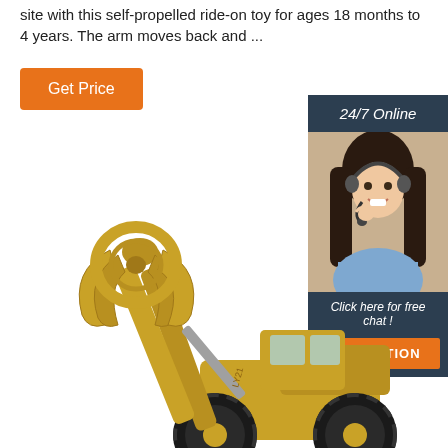site with this self-propelled ride-on toy for ages 18 months to 4 years. The arm moves back and ...
Get Price
[Figure (infographic): Sidebar advertisement panel with dark navy background. Top section shows '24/7 Online' heading. Middle section shows a photo of a smiling woman with dark hair wearing a headset/microphone. Bottom section shows text 'Click here for free chat!' and an orange 'QUOTATION' button.]
[Figure (photo): Large yellow industrial wheel loader / front loader machine with a grapple claw attachment raised up, shown on white background. The machine has large black tires and an extended arm. Model number LY21 visible on the arm.]